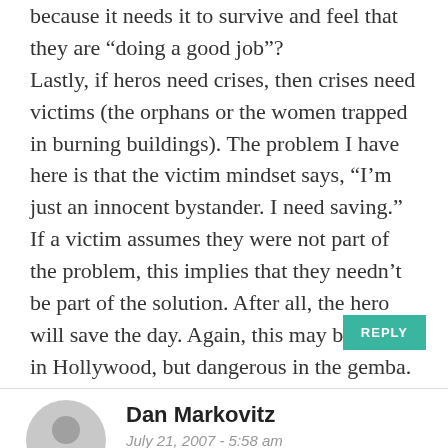because it needs it to survive and feel that they are “doing a good job”?
Lastly, if heros need crises, then crises need victims (the orphans or the women trapped in burning buildings). The problem I have here is that the victim mindset says, “I’m just an innocent bystander. I need saving.” If a victim assumes they were not part of the problem, this implies that they needn’t be part of the solution. After all, the hero will save the day. Again, this may be great in Hollywood, but dangerous in the gemba.
REPLY
Dan Markovitz
July 21, 2007 - 5:58 am